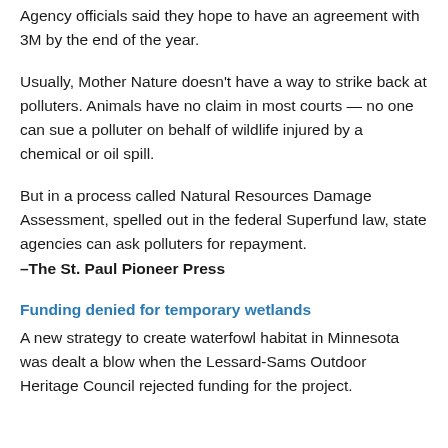Agency officials said they hope to have an agreement with 3M by the end of the year.
Usually, Mother Nature doesn't have a way to strike back at polluters. Animals have no claim in most courts — no one can sue a polluter on behalf of wildlife injured by a chemical or oil spill.
But in a process called Natural Resources Damage Assessment, spelled out in the federal Superfund law, state agencies can ask polluters for repayment.
–The St. Paul Pioneer Press
Funding denied for temporary wetlands
A new strategy to create waterfowl habitat in Minnesota was dealt a blow when the Lessard-Sams Outdoor Heritage Council rejected funding for the project.